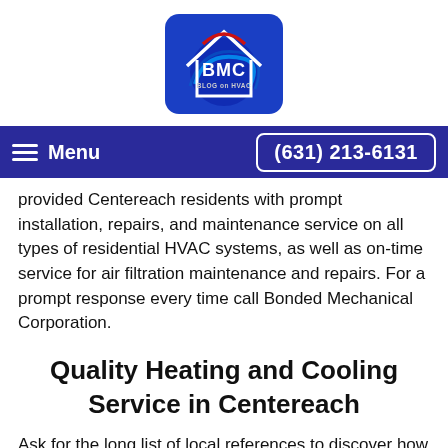[Figure (logo): BMC Blog on HVAC logo — blue rounded square with a white house outline, red arc, blue swirl, and 'BMC' text in bold white letters, 'BLOG on HVAC' in smaller text below]
≡ Menu    (631) 213-6131
provided Centereach residents with prompt installation, repairs, and maintenance service on all types of residential HVAC systems, as well as on-time service for air filtration maintenance and repairs. For a prompt response every time call Bonded Mechanical Corporation.
Quality Heating and Cooling Service in Centereach
Ask for the long list of local references to discover how serious Bonded Mechanical Corporation is about quality